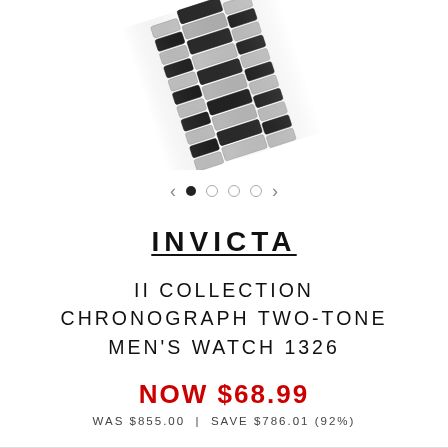[Figure (photo): Close-up photo of an Invicta men's watch showing the bracelet/band with alternating silver and black two-tone links, viewed from an angle, cropped at the top of the page.]
< • ○ ○ ○ >
INVICTA
II COLLECTION CHRONOGRAPH TWO-TONE MEN'S WATCH 1326
NOW $68.99
WAS $855.00 | SAVE $786.01 (92%)